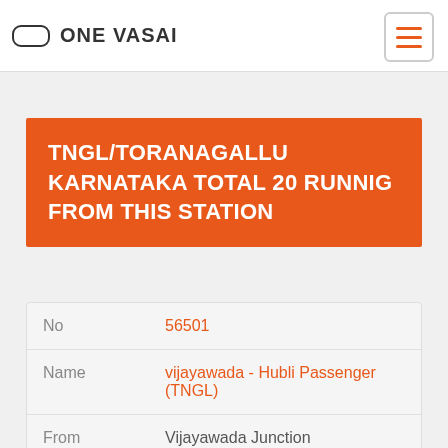ONE VASAI
TNGL/TORANAGALLU KARNATAKA TOTAL 20 RUNNIG FROM THIS STATION
| Field | Value |
| --- | --- |
| No | 56501 |
| Name | vijayawada - Hubli Passenger (TNGL) |
| From | Vijayawada Junction |